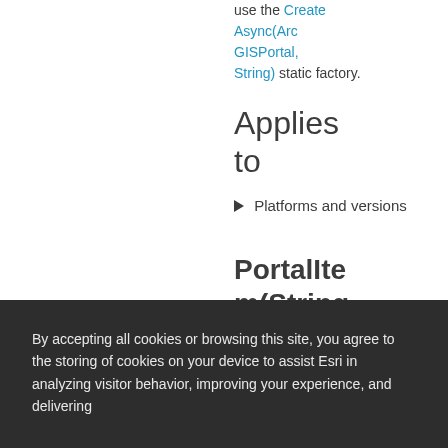use the CreateAsync(ArcGISPortal, String) static factory.
Applies to
► Platforms and versions
PortalItem(String, ArcGISP...
By accepting all cookies or browsing this site, you agree to the storing of cookies on your device to assist Esri in analyzing visitor behavior, improving your experience, and delivering